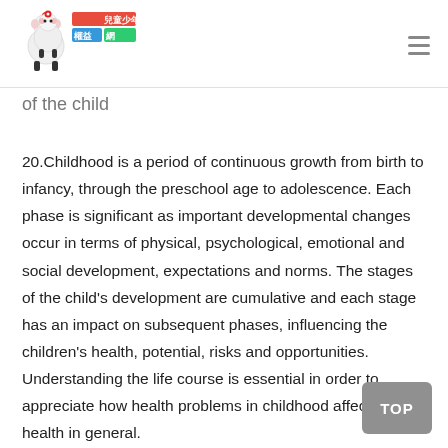兒童少年權益網 [logo/header navigation]
of the child
20.Childhood is a period of continuous growth from birth to infancy, through the preschool age to adolescence. Each phase is significant as important developmental changes occur in terms of physical, psychological, emotional and social development, expectations and norms. The stages of the child's development are cumulative and each stage has an impact on subsequent phases, influencing the children's health, potential, risks and opportunities. Understanding the life course is essential in order to appreciate how health problems in childhood affect public health in general.